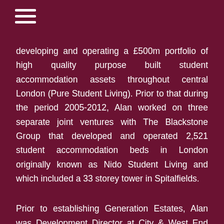developing and operating a £500m portfolio of high quality purpose built student accommodation assets throughout central London (Pure Student Living). Prior to that during the period 2005-2012, Alan worked on three separate joint ventures with The Blackstone Group that developed and operated 2,521 student accommodation beds in London originally known as Nido Student Living and which included a 33 storey tower in Spitalfields.
Prior to establishing Generation Estates, Alan was Development Director at City & West End Developments, a specialist office developer that was acquired by Security Capital Europe Realty in 1998 and which developed and acquired investment assets approaching £500m. Whilst at CWE, responsibilities included the Central London development programme, arranging senior debt with a variety of European banks and concluding most of the transactions undertaken by the company between 1998 and 2001. Prior to joining City & West End Developments in 1997,